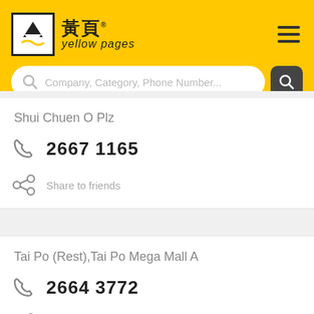[Figure (logo): Yellow Pages Hong Kong logo with Chinese characters 黃頁 and 'yellow pages' text]
Company, Category, Phone Number...
Shui Chuen O Plz
2667 1165
Share to friends
Tai Po (Rest),Tai Po Mega Mall A
2664 3772
Share to friends